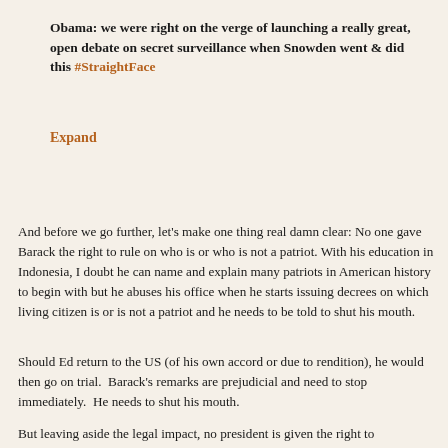Obama: we were right on the verge of launching a really great, open debate on secret surveillance when Snowden went & did this #StraightFace
Expand
And before we go further, let's make one thing real damn clear: No one gave Barack the right to rule on who is or who is not a patriot. With his education in Indonesia, I doubt he can name and explain many patriots in American history to begin with but he abuses his office when he starts issuing decrees on which living citizen is or is not a patriot and he needs to be told to shut his mouth.
Should Ed return to the US (of his own accord or due to rendition), he would then go on trial.  Barack's remarks are prejudicial and need to stop immediately.  He needs to shut his mouth.
But leaving aside the legal impact, no president is given the right to